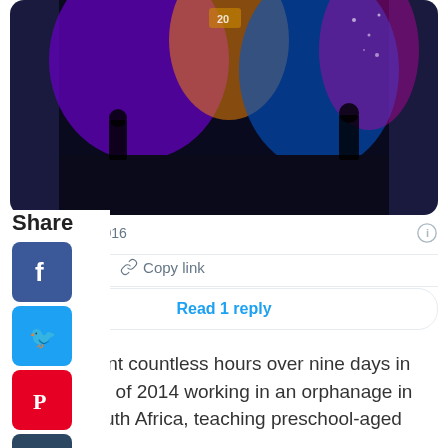[Figure (photo): Stage with colorful purple and blue lighting, silhouettes of people on stage, event venue atmosphere]
1 AM · Jun 6, 2016
45   Reply   Copy link
Read 1 reply
he also spent countless hours over nine days in the summer of 2014 working in an orphanage in Komga, South Africa, teaching preschool-aged children